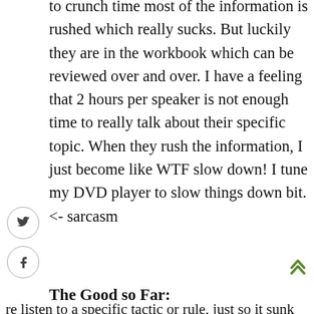to crunch time most of the information is rushed which really sucks. But luckily they are in the workbook which can be reviewed over and over. I have a feeling that 2 hours per speaker is not enough time to really talk about their specific topic. When they rush the information, I just become like WTF slow down! I tune my DVD player to slow things down bit. <- sarcasm
The Good so Far:
al speaker. ou do not in the re also small . I wrote a lot of ouple times
Ian Fernando [dot] com uses cookies to improve your experience. We'll assume you're ok with this, but you can opt-out if you wish.    Cookie settings
ACCEPT
re listen to a specific tactic or rule, just so it sunk